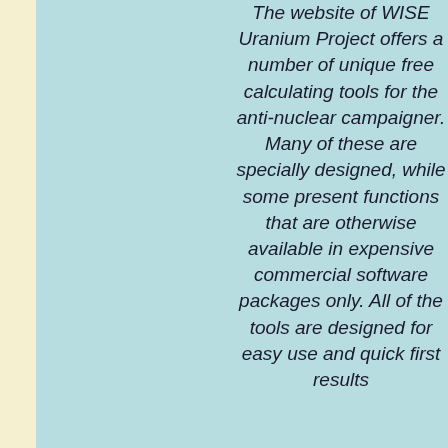The website of WISE Uranium Project offers a number of unique free calculating tools for the anti-nuclear campaigner. Many of these are specially designed, while some present functions that are otherwise available in expensive commercial software packages only. All of the tools are designed for easy use and quick first results